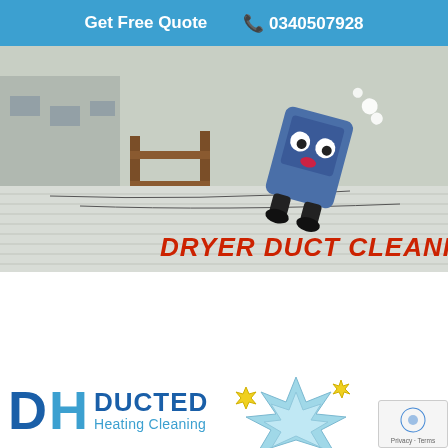Get Free Quote  📞 0340507928
[Figure (illustration): Promotional image for Dryer Duct Cleaning service showing a rooftop background with a cartoon washing machine/dryer character and bold red italic text reading DRYER DUCT CLEANING]
[Figure (logo): DH Ducted Heating Cleaning company logo with blue DH letters and brand name, plus a cartoon burst graphic and reCAPTCHA badge]